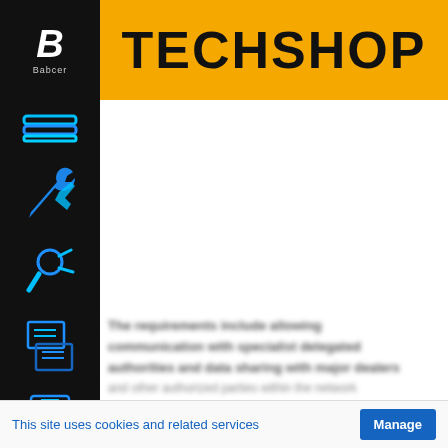TECHSHOP
[Figure (screenshot): TechShop website interface with dark left navigation sidebar containing icons for menu, tools, repair, diagnostics, manuals, and video. Header is orange/yellow with bold black TECHSHOP text and a black logo box with white B and Babcer text. Main content area is white. Blurred text visible at bottom of content area.]
This site uses cookies and related services
Manage